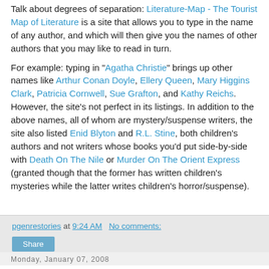Talk about degrees of separation: Literature-Map - The Tourist Map of Literature is a site that allows you to type in the name of any author, and which will then give you the names of other authors that you may like to read in turn.
For example: typing in "Agatha Christie" brings up other names like Arthur Conan Doyle, Ellery Queen, Mary Higgins Clark, Patricia Cornwell, Sue Grafton, and Kathy Reichs. However, the site's not perfect in its listings. In addition to the above names, all of whom are mystery/suspense writers, the site also listed Enid Blyton and R.L. Stine, both children's authors and not writers whose books you'd put side-by-side with Death On The Nile or Murder On The Orient Express (granted though that the former has written children's mysteries while the latter writes children's horror/suspense).
pgenrestories at 9:24 AM   No comments:
Share
Monday, January 07, 2008